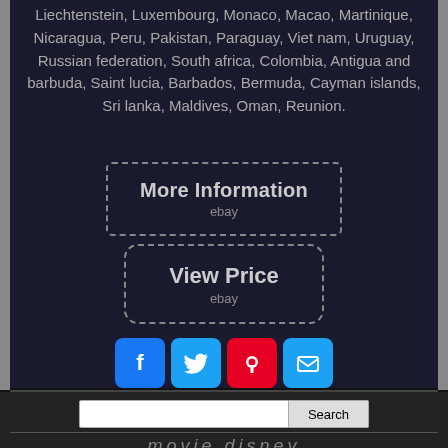Liechtenstein, Luxembourg, Monaco, Macao, Martinique, Nicaragua, Peru, Pakistan, Paraguay, Viet nam, Uruguay, Russian federation, South africa, Colombia, Antigua and barbuda, Saint lucia, Barbados, Bermuda, Cayman islands, Sri lanka, Maldives, Oman, Reunion.
[Figure (screenshot): More Information button with eBay branding, dashed border]
[Figure (screenshot): View Price button with eBay branding, dashed border]
[Figure (infographic): Social share icons: Facebook (blue), Twitter (blue), Pinterest (red), Email (blue)]
[Figure (screenshot): Search bar with text input and Search button]
movie disney